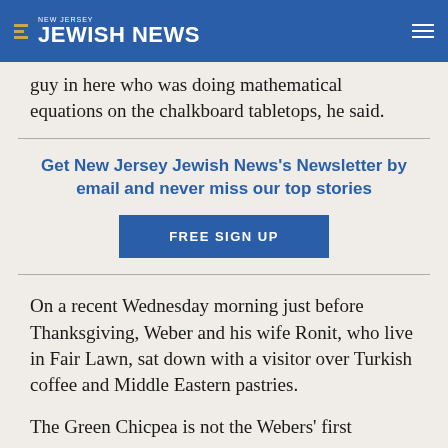NEW JERSEY JEWISH NEWS
guy in here who was doing mathematical equations on the chalkboard tabletops, he said.
Get New Jersey Jewish News's Newsletter by email and never miss our top stories
FREE SIGN UP
On a recent Wednesday morning just before Thanksgiving, Weber and his wife Ronit, who live in Fair Lawn, sat down with a visitor over Turkish coffee and Middle Eastern pastries.
The Green Chicpea is not the Webers’ first